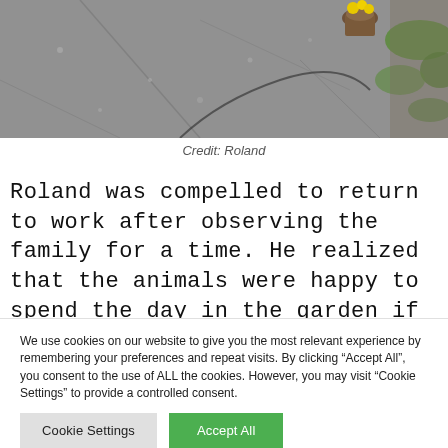[Figure (photo): Aerial view of a stone/concrete garden path with gravel, some green grass at edges, and a small plant pot with yellow flowers visible in the upper right area.]
Credit: Roland
Roland was compelled to return to work after observing the family for a time. He realized that the animals were happy to spend the day in the garden if they wanted.
We use cookies on our website to give you the most relevant experience by remembering your preferences and repeat visits. By clicking “Accept All”, you consent to the use of ALL the cookies. However, you may visit “Cookie Settings” to provide a controlled consent.